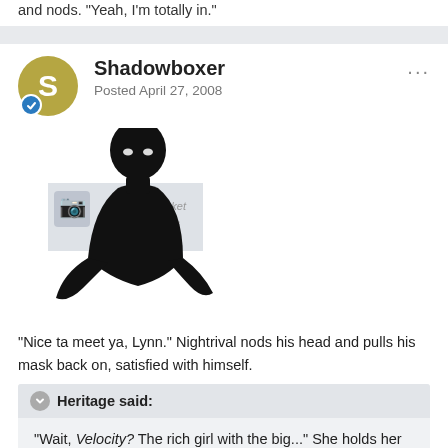and nods. "Yeah, I'm totally in."
[Figure (illustration): Silhouette illustration of a dark figure/character with white eyes against a light grey background, with a Photobucket watermark overlay.]
"Nice ta meet ya, Lynn." Nightrival nods his head and pulls his mask back on, satisfied with himself.
Heritage said: "Wait, Velocity? The rich girl with the big..." She holds her hands out. "Outfit? You asked the shiksa first? Oh, that's great, just great!"
Grim's angry words send shivers up Nightrival's spine. He